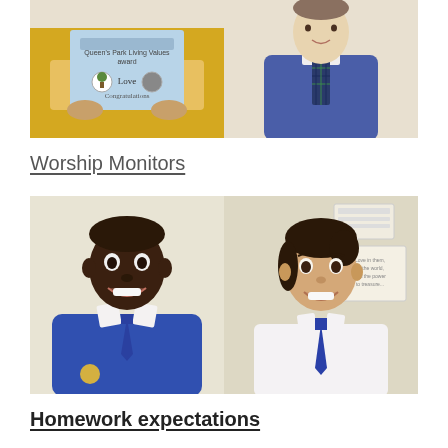[Figure (photo): Two photos side by side at top: left shows a child in yellow holding a Queen's Park Living Values award certificate showing 'Love' and 'Congratulations'; right shows a child in blue school uniform with plaid tie.]
Worship Monitors
[Figure (photo): Two photos side by side: left shows a boy in blue school uniform with white shirt and blue tie smiling; right shows a girl in white shirt and blue tie smiling, with a poster on the wall behind her.]
Homework expectations